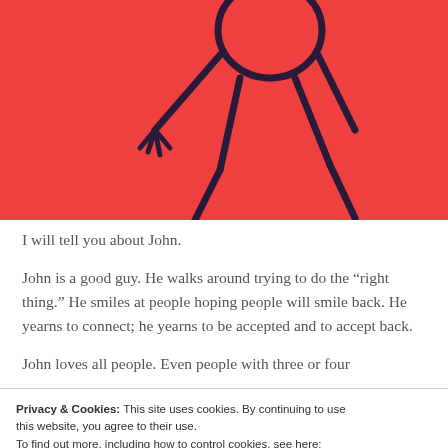[Figure (illustration): Hand-drawn stick figure illustration on a red/coral background. Shows a round-headed character with stick arms and legs, drawn in dark navy/purple lines on a bright red background. The figure appears to be upside down or in an unusual pose with limbs visible.]
I will tell you about John.
John is a good guy. He walks around trying to do the "right thing." He smiles at people hoping people will smile back. He yearns to connect; he yearns to be accepted and to accept back.
John loves all people. Even people with three or four
Privacy & Cookies: This site uses cookies. By continuing to use this website, you agree to their use.
To find out more, including how to control cookies, see here: Cookie Policy
Close and accept
pain. But he does like it when the nurse comes along